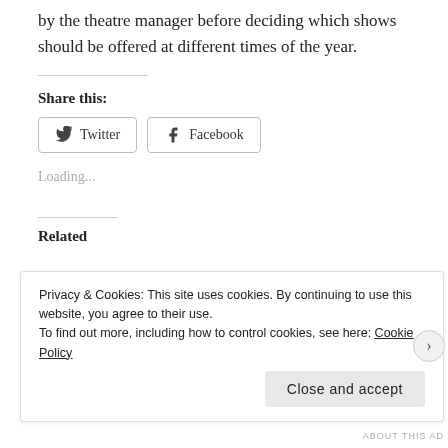by the theatre manager before deciding which shows should be offered at different times of the year.
Share this:
[Figure (other): Social share buttons: Twitter and Facebook]
Loading...
Related
Privacy & Cookies: This site uses cookies. By continuing to use this website, you agree to their use. To find out more, including how to control cookies, see here: Cookie Policy
Close and accept